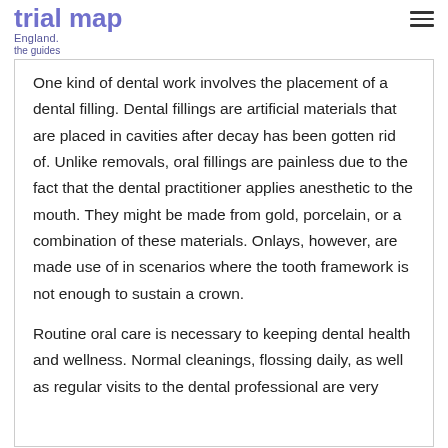trial map England. the guides
One kind of dental work involves the placement of a dental filling. Dental fillings are artificial materials that are placed in cavities after decay has been gotten rid of. Unlike removals, oral fillings are painless due to the fact that the dental practitioner applies anesthetic to the mouth. They might be made from gold, porcelain, or a combination of these materials. Onlays, however, are made use of in scenarios where the tooth framework is not enough to sustain a crown.
Routine oral care is necessary to keeping dental health and wellness. Normal cleanings, flossing daily, as well as regular visits to the dental professional are very